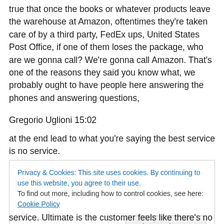true that once the books or whatever products leave the warehouse at Amazon, oftentimes they're taken care of by a third party, FedEx ups, United States Post Office, if one of them loses the package, who are we gonna call? We're gonna call Amazon. That's one of the reasons they said you know what, we probably ought to have people here answering the phones and answering questions,
Gregorio Uglioni 15:02
at the end lead to what you're saying the best service is no service.
Privacy & Cookies: This site uses cookies. By continuing to use this website, you agree to their use.
To find out more, including how to control cookies, see here: Cookie Policy
Close and accept
service. Ultimate is the customer feels like there's no need